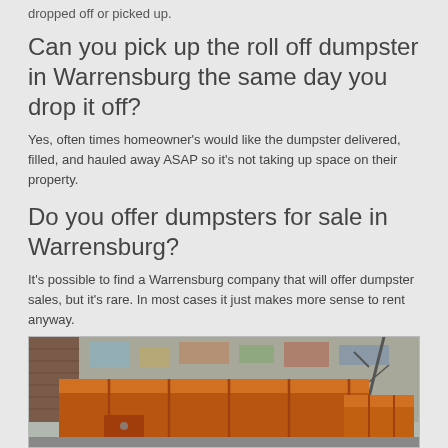dropped off or picked up.
Can you pick up the roll off dumpster in Warrensburg the same day you drop it off?
Yes, often times homeowner's would like the dumpster delivered, filled, and hauled away ASAP so it's not taking up space on their property.
Do you offer dumpsters for sale in Warrensburg?
It's possible to find a Warrensburg company that will offer dumpster sales, but it's rare. In most cases it just makes more sense to rent anyway.
Ready to start comparing prices on a dumpster rental in Warrensburg? Complete the quick quote form or give one of the verified companies in Warrensburg a call right now. You won't find better service or lower rates anywhere else!
[Figure (photo): An orange roll-off dumpster photographed outdoors against a concrete wall with graffiti.]